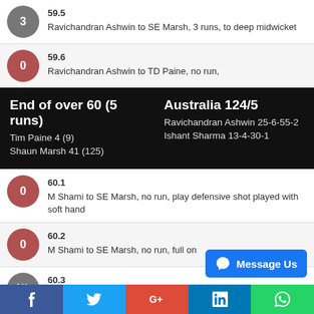59.5 — Ravichandran Ashwin to SE Marsh, 3 runs, to deep midwicket
59.6 — Ravichandran Ashwin to TD Paine, no run,
End of over 60 (5 runs) | Australia 124/5 | Tim Paine 4 (9) | Shaun Marsh 41 (125) | Ravichandran Ashwin 25-6-55-2 | Ishant Sharma 13-4-30-1
60.1 — M Shami to SE Marsh, no run, play defensive shot played with soft hand
60.2 — M Shami to SE Marsh, no run, full on
60.3 — M Shami to SE Marsh, 1 leg bye, to square leg